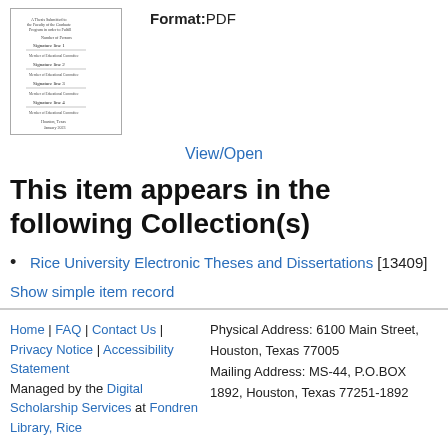[Figure (screenshot): Thumbnail of a scanned PDF document page showing signatures and text]
Format:PDF
View/Open
This item appears in the following Collection(s)
Rice University Electronic Theses and Dissertations [13409]
Show simple item record
Home | FAQ | Contact Us | Privacy Notice | Accessibility Statement Managed by the Digital Scholarship Services at Fondren Library, Rice | Physical Address: 6100 Main Street, Houston, Texas 77005 Mailing Address: MS-44, P.O.BOX 1892, Houston, Texas 77251-1892